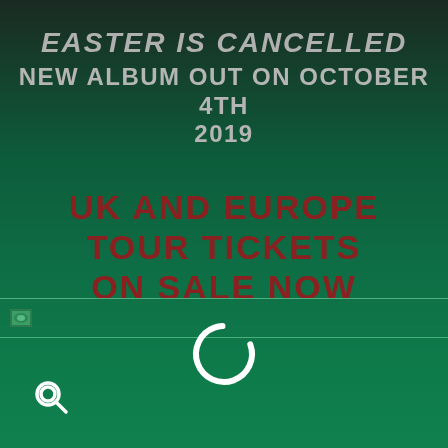EASTER IS CANCELLED
NEW ALBUM OUT ON OCTOBER 4TH 2019
UK AND EUROPE TOUR TICKETS ON SALE NOW
[Figure (other): Loading spinner (white circular arc) and a horizontal banner strip with a small leaf/nature thumbnail icon on the left edge]